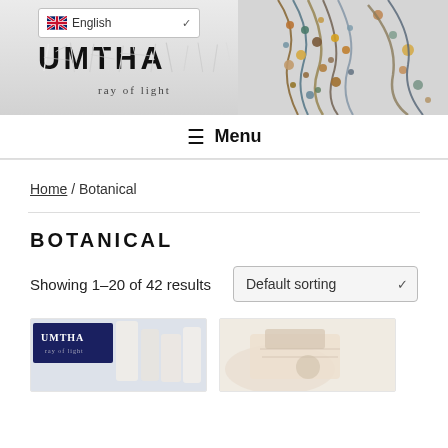[Figure (screenshot): Website header banner with UMTHA 'ray of light' logo on grey background and decorative beaded necklace photo on right side, plus English language selector dropdown at top left]
≡  Menu
Home / Botanical
BOTANICAL
Showing 1–20 of 42 results  Default sorting
[Figure (photo): Product thumbnail image showing UMTHA branded packaging]
[Figure (photo): Product thumbnail image on right side, partially visible]